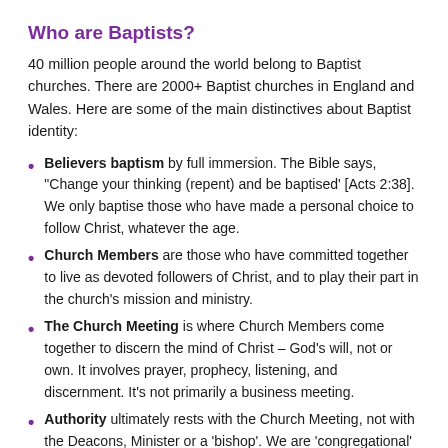Who are Baptists?
40 million people around the world belong to Baptist churches. There are 2000+ Baptist churches in England and Wales. Here are some of the main distinctives about Baptist identity:
Believers baptism by full immersion. The Bible says, “Change your thinking (repent) and be baptised’ [Acts 2:38]. We only baptise those who have made a personal choice to follow Christ, whatever the age.
Church Members are those who have committed together to live as devoted followers of Christ, and to play their part in the church’s mission and ministry.
The Church Meeting is where Church Members come together to discern the mind of Christ – God’s will, not or own. It involves prayer, prophecy, listening, and discernment. It’s not primarily a business meeting.
Authority ultimately rests with the Church Meeting, not with the Deacons, Minister or a ‘bishop’. We are ‘congregational’ and champion the ‘priesthood of all believers’ [1 Peter 2:5]. Practically, the Church